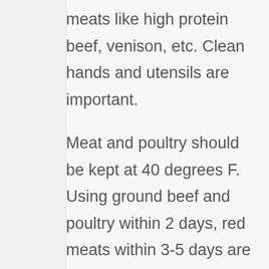meats like high protein beef, venison, etc. Clean hands and utensils are important.
Meat and poultry should be kept at 40 degrees F. Using ground beef and poultry within 2 days, red meats within 3-5 days are necessary. If you are using the fresh game for making the jerky, check the meat is